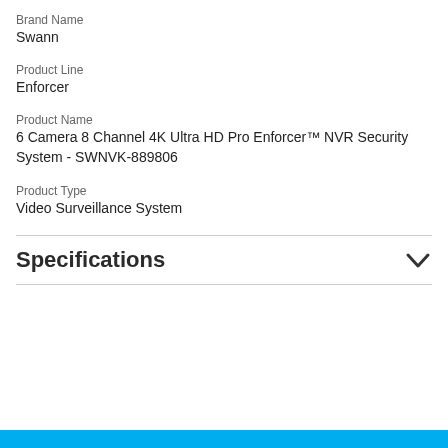Brand Name
Swann
Product Line
Enforcer
Product Name
6 Camera 8 Channel 4K Ultra HD Pro Enforcer™ NVR Security System - SWNVK-889806
Product Type
Video Surveillance System
Specifications